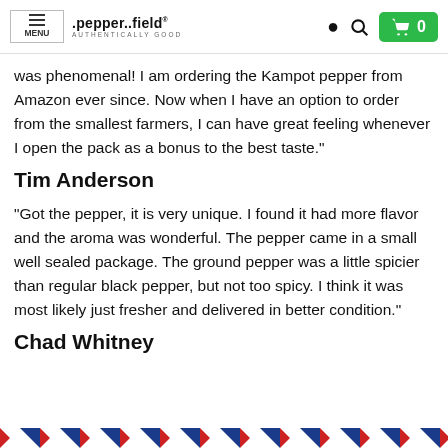MENU | .pepper..field® AUTHENTICALLY GOOD | [icons] 0
was phenomenal! I am ordering the Kampot pepper from Amazon ever since. Now when I have an option to order from the smallest farmers, I can have great feeling whenever I open the pack as a bonus to the best taste."
Tim Anderson
"Got the pepper, it is very unique. I found it had more flavor and the aroma was wonderful. The pepper came in a small well sealed package. The ground pepper was a little spicier than regular black pepper, but not too spicy. I think it was most likely just fresher and delivered in better condition."
Chad Whitney
[Figure (illustration): Airmail diagonal red and blue stripe border pattern at the bottom of the page]